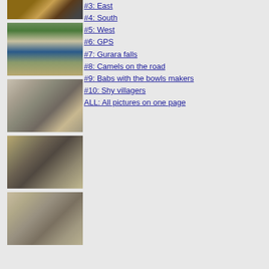[Figure (photo): Photo 1: GPS device and partial landscape]
[Figure (photo): Photo 2: Gurara falls waterfall scene]
[Figure (photo): Photo 3: Camels on the road in dry landscape]
[Figure (photo): Photo 4: Babs with the bowls makers - people sitting on ground]
[Figure (photo): Photo 5: Shy villagers - dry bush landscape]
#3: East
#4: South
#5: West
#6: GPS
#7: Gurara falls
#8: Camels on the road
#9: Babs with the bowls makers
#10: Shy villagers
ALL: All pictures on one page